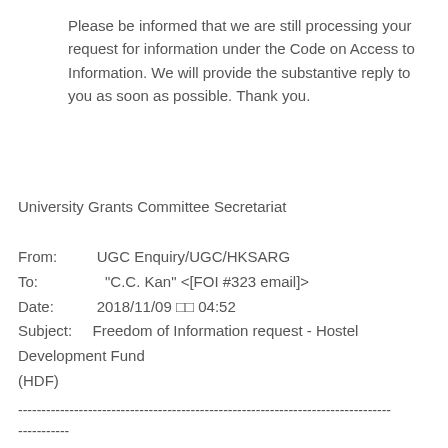Please be informed that we are still processing your request for information under the Code on Access to Information. We will provide the substantive reply to you as soon as possible. Thank you.
University Grants Committee Secretariat
From:     UGC Enquiry/UGC/HKSARG
To:       "C.C. Kan" <[FOI #323 email]>
Date:     2018/11/09 □□ 04:52
Subject:     Freedom of Information request - Hostel Development Fund (HDF)
--------------------------------------------------------------------------------
-----------